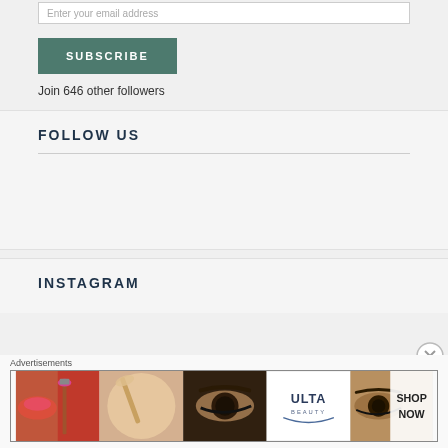Enter your email address
SUBSCRIBE
Join 646 other followers
FOLLOW US
INSTAGRAM
Advertisements
[Figure (illustration): Advertisement banner for Ulta Beauty featuring makeup imagery (lips, brush, eye, Ulta logo, eye close-up) and SHOP NOW text]